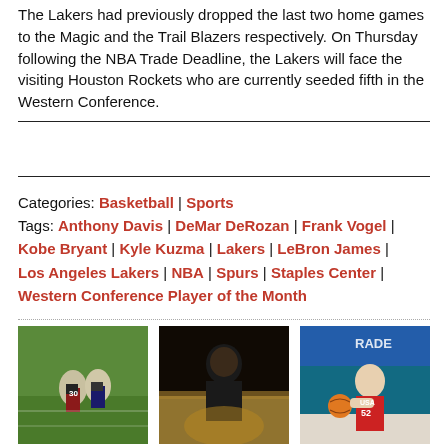The Lakers had previously dropped the last two home games to the Magic and the Trail Blazers respectively. On Thursday following the NBA Trade Deadline, the Lakers will face the visiting Houston Rockets who are currently seeded fifth in the Western Conference.
Categories: Basketball | Sports
Tags: Anthony Davis | DeMar DeRozan | Frank Vogel | Kobe Bryant | Kyle Kuzma | Lakers | LeBron James | Los Angeles Lakers | NBA | Spurs | Staples Center | Western Conference Player of the Month
[Figure (photo): American football game photo showing players in action on a green field, player wearing number 30]
[Figure (photo): Basketball coach or figure standing on a basketball court, viewed from the side]
[Figure (photo): USA women's basketball player wearing number 52 dribbling a basketball, with TRADE text visible in background]
Notable Hall of